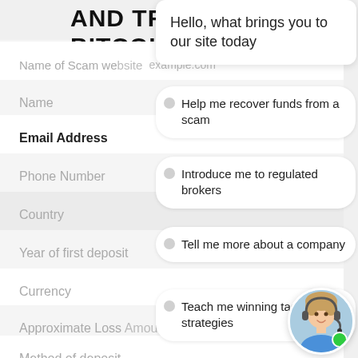AND TRACE BITCOIN!
Name of Scam website  example.com
Name
Email Address
Phone Number
Country
Year of first deposit
Currency
Approximate Loss Amount
Method of deposit
Hello, what brings you to our site today
Help me recover funds from a scam
Introduce me to regulated brokers
Tell me more about a company
Teach me winning tactics and strategies
[Figure (photo): Customer support agent profile photo with green online indicator dot]